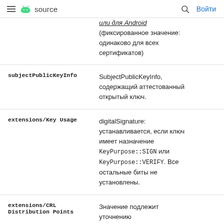≡ Android source  🔍 Войти
| (partial row) | или для Android (фиксированное значение: одинаково для всех сертификатов) |
| subjectPublicKeyInfo | SubjectPublicKeyInfo, содержащий аттестованный открытый ключ. |
| extensions/Key Usage | digitalSignature: устанавливается, если ключ имеет назначение KeyPurpose::SIGN или KeyPurpose::VERIFY. Все остальные биты не установлены. |
| extensions/CRL Distribution Points | Значение подлежит уточнению |